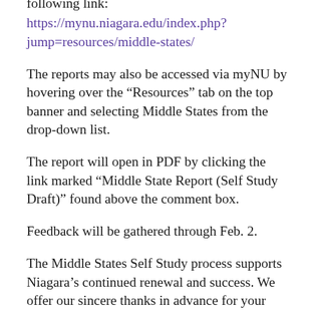following link:
https://mynu.niagara.edu/index.php?jump=resources/middle-states/
The reports may also be accessed via myNU by hovering over the “Resources” tab on the top banner and selecting Middle States from the drop-down list.
The report will open in PDF by clicking the link marked “Middle State Report (Self Study Draft)” found above the comment box.
Feedback will be gathered through Feb. 2.
The Middle States Self Study process supports Niagara’s continued renewal and success. We offer our sincere thanks in advance for your